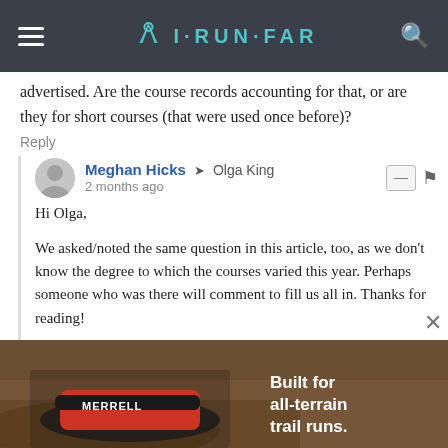I RUN FAR
advertised. Are the course records accounting for that, or are they for short courses (that were used once before)?
Reply
Meghan Hicks → Olga King
2 months ago
Hi Olga,

We asked/noted the same question in this article, too, as we don't know the degree to which the courses varied this year. Perhaps someone who was there will comment to fill us all in. Thanks for reading!
Reply
[Figure (photo): Merrell shoe advertisement with trail running imagery and text: Built for all-terrain trail runs.]